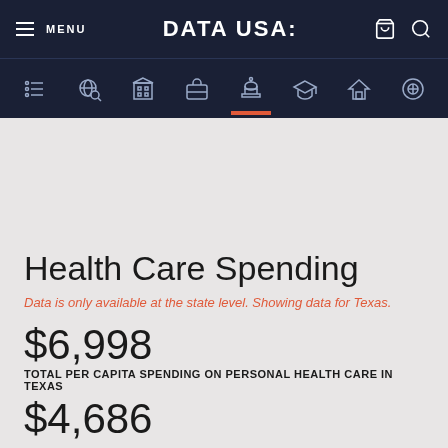MENU | DATA USA: [navigation icons]
Health Care Spending
Data is only available at the state level. Showing data for Texas.
$6,998
TOTAL PER CAPITA SPENDING ON PERSONAL HEALTH CARE IN TEXAS
$4,686